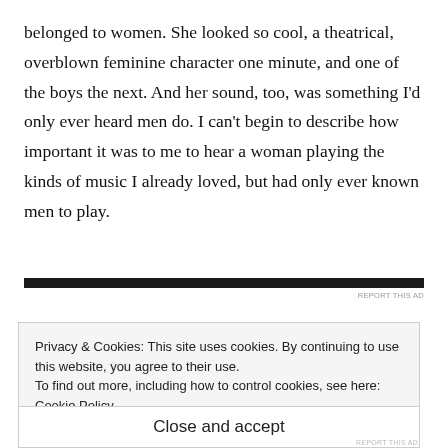belonged to women. She looked so cool, a theatrical, overblown feminine character one minute, and one of the boys the next. And her sound, too, was something I'd only ever heard men do. I can't begin to describe how important it was to me to hear a woman playing the kinds of music I already loved, but had only ever known men to play.
[Figure (other): Dark horizontal advertisement bar with 'REPORT THIS AD' text link]
Privacy & Cookies: This site uses cookies. By continuing to use this website, you agree to their use.
To find out more, including how to control cookies, see here: Cookie Policy
Close and accept